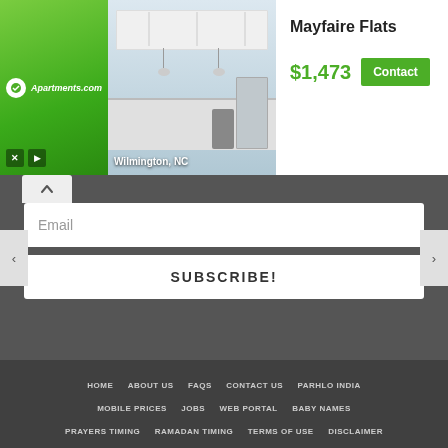[Figure (screenshot): Apartments.com advertisement banner for Mayfaire Flats in Wilmington, NC showing a kitchen photo, price of $1,473, and a Contact button]
Email
SUBSCRIBE!
HOME  ABOUT US  FAQS  CONTACT US  PARHLO INDIA  MOBILE PRICES  JOBS  WEB PORTAL  BABY NAMES  PRAYERS TIMING  RAMADAN TIMING  TERMS OF USE  DISCLAIMER  WRITE FOR US
Parhlo © 2014-2021. All rights reserved.